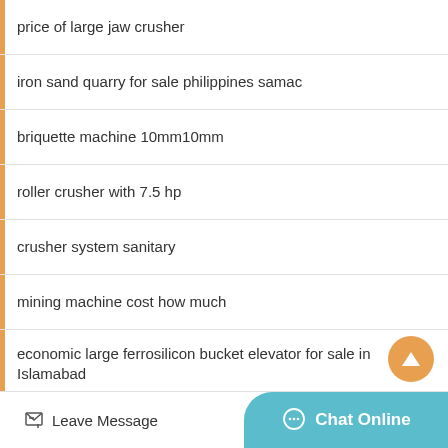price of large jaw crusher
iron sand quarry for sale philippines samac
briquette machine 10mm10mm
roller crusher with 7.5 hp
crusher system sanitary
mining machine cost how much
economic large ferrosilicon bucket elevator for sale in Islamabad
spex company of ball mill in india
Leave Message   Chat Online